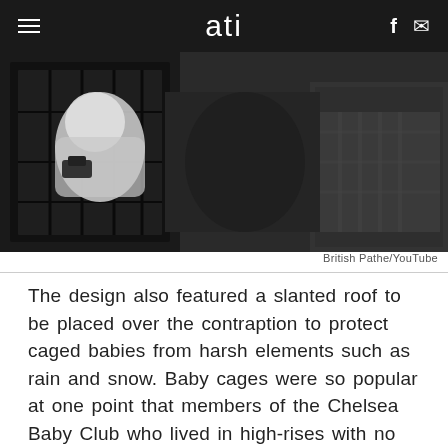ati
[Figure (photo): Black and white photograph showing a baby in a wire cage or crib attached to a building exterior, with a person in plaid shirt visible on the right]
British Pathe/YouTube
The design also featured a slanted roof to be placed over the contraption to protect caged babies from harsh elements such as rain and snow. Baby cages were so popular at one point that members of the Chelsea Baby Club who lived in high-rises with no garden access were given cages to use in their apartments, even enticing Eleanor Roosevelt, who